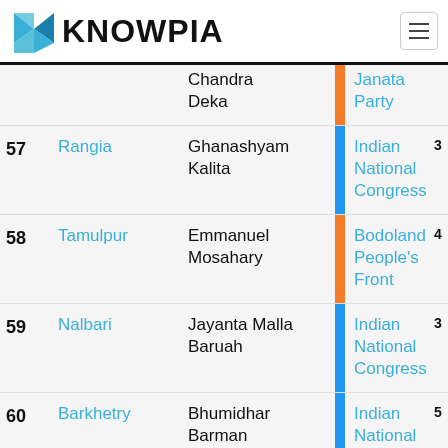KNOWPIA
| # | Constituency | Candidate |  | Party | Votes |
| --- | --- | --- | --- | --- | --- |
|  | Chandra Deka |  | orange | Janata Party |  |
| 57 | Rangia | Ghanashyam Kalita | blue | Indian National Congress | 3 |
| 58 | Tamulpur | Emmanuel Mosahary | orange | Bodoland People's Front | 4 |
| 59 | Nalbari | Jayanta Malla Baruah | blue | Indian National Congress | 3 |
| 60 | Barkhetry | Bhumidhar Barman | blue | Indian National Congress | 5 |